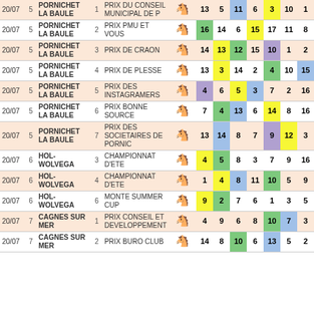| Date | R | Track | Race# | Race Name | Icon | N1 | N2 | N3 | N4 | N5 | N6 | N7+ |
| --- | --- | --- | --- | --- | --- | --- | --- | --- | --- | --- | --- | --- |
| 20/07 | 5 | PORNICHET LA BAULE | 1 | PRIX DU CONSEIL MUNICIPAL DE P | 🐴 | 13 | 5 | 11 | 6 | 3 | 10 | 1 |
| 20/07 | 5 | PORNICHET LA BAULE | 2 | PRIX PMU ET VOUS | 🐴 | 16 | 14 | 6 | 15 | 17 | 11 | 8 |
| 20/07 | 5 | PORNICHET LA BAULE | 3 | PRIX DE CRAON | 🐴 | 14 | 13 | 12 | 15 | 10 | 1 | 2 |
| 20/07 | 5 | PORNICHET LA BAULE | 4 | PRIX DE PLESSE | 🐴 | 13 | 3 | 14 | 2 | 4 | 10 | 15 |
| 20/07 | 5 | PORNICHET LA BAULE | 5 | PRIX DES INSTAGRAMERS | 🐴 | 4 | 6 | 5 | 3 | 7 | 2 | 16 |
| 20/07 | 5 | PORNICHET LA BAULE | 6 | PRIX BONNE SOURCE | 🐴 | 7 | 4 | 13 | 6 | 14 | 8 | 16 |
| 20/07 | 5 | PORNICHET LA BAULE | 7 | PRIX DES SOCIETAIRES DE PORNIC | 🐴 | 13 | 14 | 8 | 7 | 9 | 12 | 3 |
| 20/07 | 6 | HOL-WOLVEGA | 3 | CHAMPIONNAT D'ETE | 🐴 | 4 | 5 | 8 | 3 | 7 | 9 | 16 |
| 20/07 | 6 | HOL-WOLVEGA | 4 | CHAMPIONNAT D'ETE | 🐴 | 1 | 4 | 8 | 11 | 10 | 5 | 9 |
| 20/07 | 6 | HOL-WOLVEGA | 6 | MONTE SUMMER CUP | 🐴 | 9 | 2 | 7 | 6 | 1 | 3 | 5 |
| 20/07 | 7 | CAGNES SUR MER | 1 | PRIX CONSEIL ET DEVELOPPEMENT | 🐴 | 4 | 9 | 6 | 8 | 10 | 7 | 3 |
| 20/07 | 7 | CAGNES SUR MER | 2 | PRIX BURO CLUB | 🐴 | 14 | 8 | 10 | 6 | 13 | 5 | 2 |